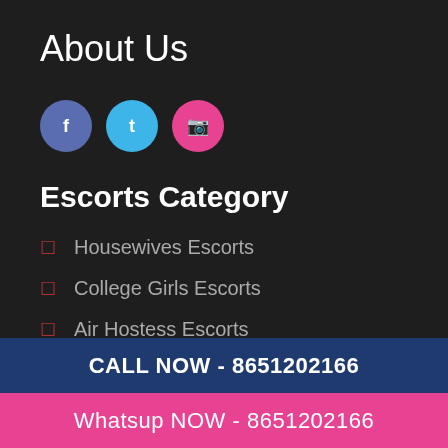About Us
[Figure (illustration): Three social media icon circles: purple (Facebook), blue (Twitter), pink (Instagram)]
Escorts Category
Housewives Escorts
College Girls Escorts
Air Hostess Escorts
Model Escorts
CALL NOW - 8651202166
Whatsup NOW - 8651202166